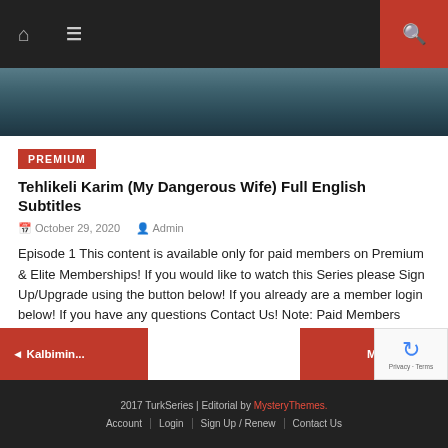Navigation bar with home icon, menu icon, and search button
[Figure (photo): Partial screenshot of a TV show or movie still — dark teal/blue toned image cropped at top]
PREMIUM
Tehlikeli Karim (My Dangerous Wife) Full English Subtitles
October 29, 2020   Admin
Episode 1 This content is available only for paid members on Premium & Elite Memberships! If you would like to watch this Series please Sign Up/Upgrade using the button below!  If you already are a member login below! If you have any questions Contact Us! Note: Paid Members watch the videos Without ADS! Username Password [...]
◄ Kalbimin...
Meleklerin ...
2017 TurkSeries | Editorial by MysteryThemes.   Account | Login | Sign Up / Renew | Contact Us